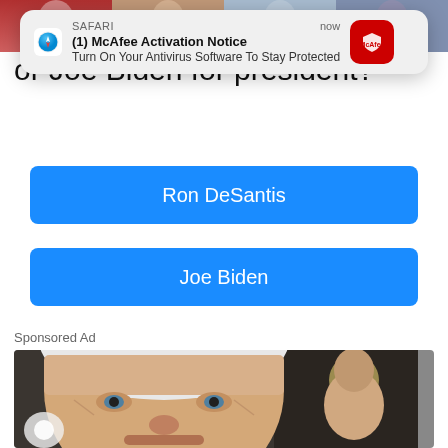[Figure (screenshot): Top strip showing partial photos of people]
[Figure (screenshot): Safari notification: (1) McAfee Activation Notice - Turn On Your Antivirus Software To Stay Protected]
or Joe Biden for president?
[Figure (screenshot): Poll button: Ron DeSantis]
[Figure (screenshot): Poll button: Joe Biden]
Sponsored Ad
[Figure (photo): Close-up photo of an older white-haired man (Joe Biden) at an event, with a younger man visible in the background]